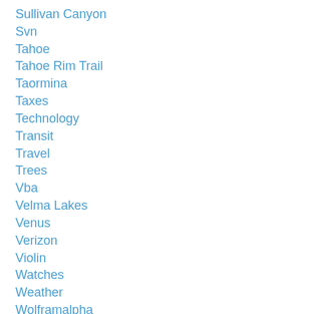Sullivan Canyon
Svn
Tahoe
Tahoe Rim Trail
Taormina
Taxes
Technology
Transit
Travel
Trees
Vba
Velma Lakes
Venus
Verizon
Violin
Watches
Weather
Wolframalpha
Words
Wrestling
Writi…